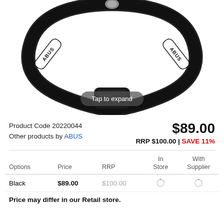[Figure (photo): ABUS branded combination chain lock (black) with combination dial, shown in a loop shape against white background. Overlay button reads 'Tap to expand'.]
Product Code 20220044
Other products by ABUS
$89.00
RRP $100.00 | SAVE 11%
| Options | Price | RRP | In Store | With Supplier |
| --- | --- | --- | --- | --- |
| Black | $89.00 | $100.00 |  |  |
Price may differ in our Retail store.